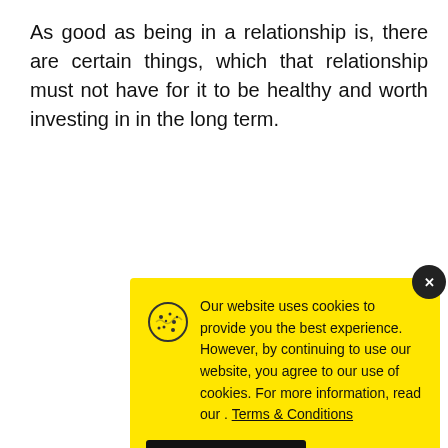As good as being in a relationship is, there are certain things, which that relationship must not have for it to be healthy and worth investing in in the long term.
[Figure (screenshot): Cookie consent banner with yellow background, cookie icon, text about website cookies policy, Terms & Conditions link, and Accept button. Has a dark circular close button in top right corner.]
[Figure (logo): Petco advertisement with blue Petco logo and navigation arrows.]